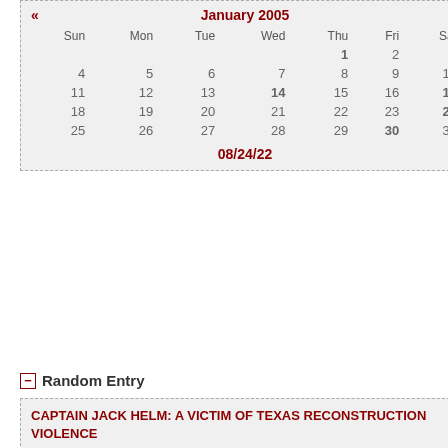| Sun | Mon | Tue | Wed | Thu | Fri | Sat |
| --- | --- | --- | --- | --- | --- | --- |
|  |  |  |  | 1 | 2 | 3 |
| 4 | 5 | 6 | 7 | 8 | 9 | 10 |
| 11 | 12 | 13 | 14 | 15 | 16 | 17 |
| 18 | 19 | 20 | 21 | 22 | 23 | 24 |
| 25 | 26 | 27 | 28 | 29 | 30 | 31 |
08/24/22
Random Entry
CAPTAIN JACK HELM: A VICTIM OF TEXAS RECONSTRUCTION VIOLENCE
CANDELARIA FOOTBRIDGE STILL HERE
WEST TEXAS YESTERDAYS-REMEMBERING BARNEY HUBBS
QUANAH PARKER'S STAR HOUSE
FLAGS TEXAS CONFEDERATES CARRIED INTO BATTLE
Archives
View Archives
2021
  October
2019